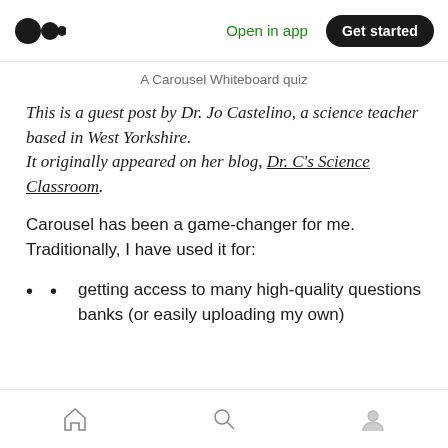Open in app  Get started
A Carousel Whiteboard quiz
This is a guest post by Dr. Jo Castelino, a science teacher based in West Yorkshire. It originally appeared on her blog, Dr. C's Science Classroom.
Carousel has been a game-changer for me. Traditionally, I have used it for:
getting access to many high-quality questions banks (or easily uploading my own)
home  search  profile